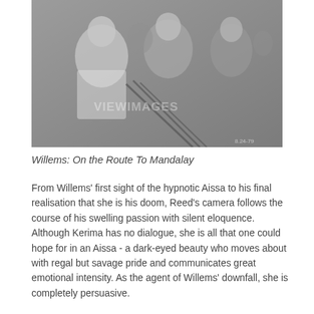[Figure (photo): Black and white photograph of multiple people. A man in a light linen shirt on the left appears to be in a scene with several other individuals, one older shirtless man in the center and others around them. A watermark reading 'VIEWIMAGES' is visible.]
Willems: On the Route To Mandalay
From Willems' first sight of the hypnotic Aissa to his final realisation that she is his doom, Reed's camera follows the course of his swelling passion with silent eloquence. Although Kerima has no dialogue, she is all that one could hope for in an Aissa - a dark-eyed beauty who moves about with regal but savage pride and communicates great emotional intensity. As the agent of Willems' downfall, she is completely persuasive.